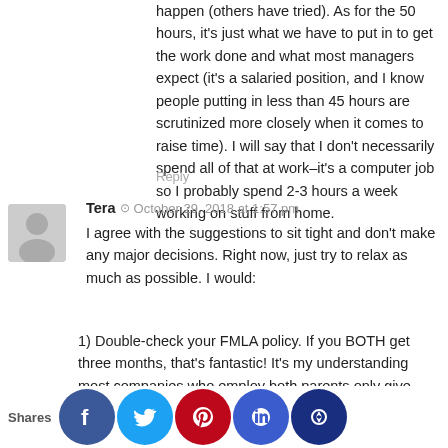happen (others have tried). As for the 50 hours, it's just what we have to put in to get the work done and what most managers expect (it's a salaried position, and I know people putting in less than 45 hours are scrutinized more closely when it comes to raise time). I will say that I don't necessarily spend all of that at work–it's a computer job so I probably spend 2-3 hours a week working on stuff from home.
Reply
Tera  ⊙  October 29, 2018 at 1:57 pm
I agree with the suggestions to sit tight and don't make any major decisions. Right now, just try to relax as much as possible. I would:
1) Double-check your FMLA policy. If you BOTH get three months, that's fantastic! It's my understanding most companies who employ both parents only give three months to share between the two employees.
2) I had a c-section and I can't imagine going back to work at six w... if you end... aving a c...on, you r...ant to r...e you...an.
Shares